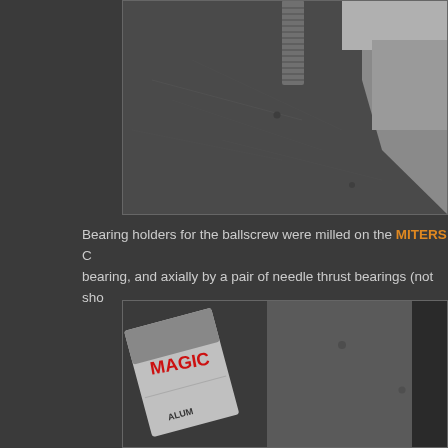[Figure (photo): Close-up photo of a machined aluminum bearing holder block with a threaded ballscrew rod on a dark scratched metal surface.]
Bearing holders for the ballscrew were milled on the MITERS C bearing, and axially by a pair of needle thrust bearings (not sho
[Figure (photo): Photo showing a can of Magic lubricant/product and a flat metal plate on a dark surface, with CNC machine components visible.]